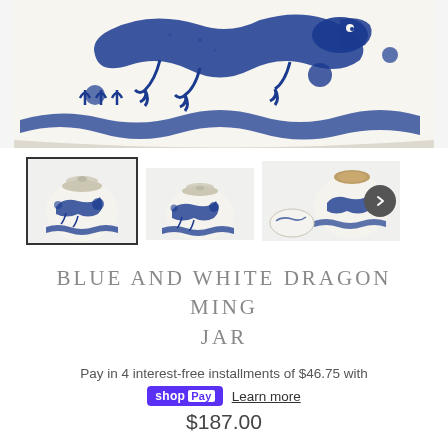[Figure (photo): Close-up top portion of a blue and white ceramic dragon Ming jar showing blue dragon and wave motifs on white porcelain]
[Figure (photo): Thumbnail 1 (selected): Full view of blue and white ceramic dragon Ming jar with lid]
[Figure (photo): Thumbnail 2: Another view of blue and white ceramic dragon Ming jar]
[Figure (photo): Thumbnail 3: Blue and white ceramic dragon Ming jar with lid removed, showing the open top]
BLUE AND WHITE DRAGON MING JAR
Pay in 4 interest-free installments of $46.75 with
shopPay Learn more
$187.00